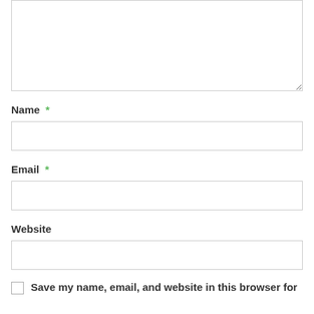[Figure (screenshot): A comment form textarea (empty, resizable) at the top of the page]
Name *
[Figure (screenshot): Empty text input field for Name]
Email *
[Figure (screenshot): Empty text input field for Email]
Website
[Figure (screenshot): Empty text input field for Website]
Save my name, email, and website in this browser for